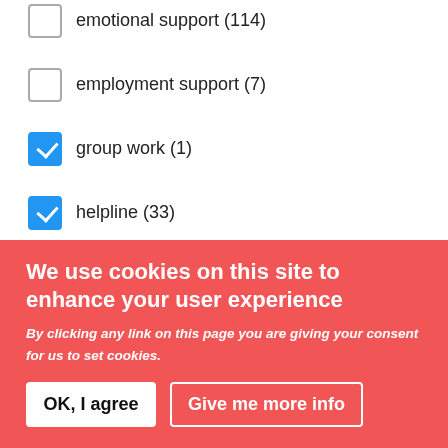emotional support (114)
employment support (7)
group work (1)
helpline (33)
homelessness support (9)
housing advice and support (18)
We use cookies on this site to enhance your user experience
By clicking any link on this page you are giving your consent for us to set cookies.
OK, I agree
Give me more info